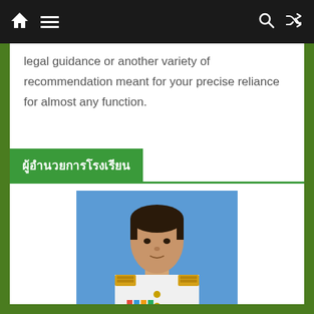Navigation bar with home, menu, search, and shuffle icons
legal guidance or another variety of recommendation meant for your precise reliance for almost any function.
ผู้อำนวยการโรงเรียน
[Figure (photo): Portrait photo of a man in white formal Thai government/military uniform with gold epaulettes and medals, against a blue background]